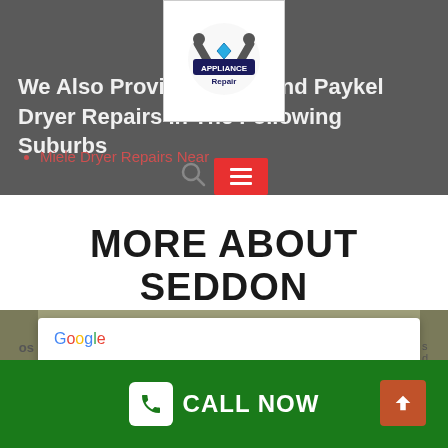[Figure (logo): Appliance Repair logo with wrench icons, white background square overlay on dark header]
We Also Provide Fisher and Paykel Dryer Repairs In The Following Suburbs
Miele Dryer Repairs Near
MORE ABOUT SEDDON
[Figure (screenshot): Google Maps error popup: 'Google' logo followed by text 'This page can't load Google Maps correctly.']
CALL NOW
CALL NOW